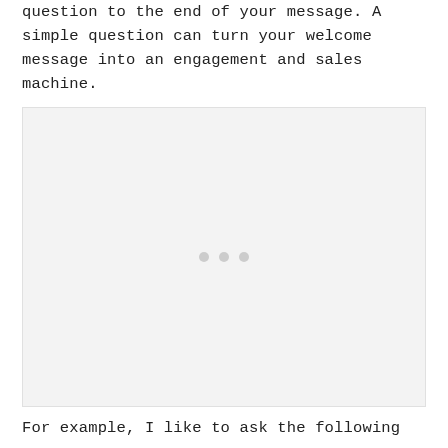question to the end of your message. A simple question can turn your welcome message into an engagement and sales machine.
[Figure (screenshot): A large light gray placeholder image box with three small gray dots centered in the middle, representing a loading or placeholder state for an image or screenshot.]
For example, I like to ask the following